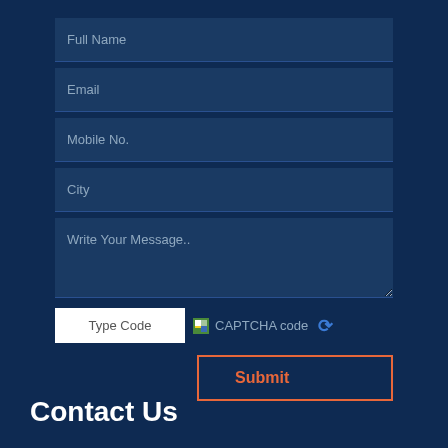[Figure (screenshot): A contact form UI on a dark navy blue background with input fields for Full Name, Email, Mobile No., City, Write Your Message, a CAPTCHA code field with Type Code input box and refresh icon, and a Submit button with orange border and text. At the bottom, 'Contact Us' heading in white.]
Contact Us